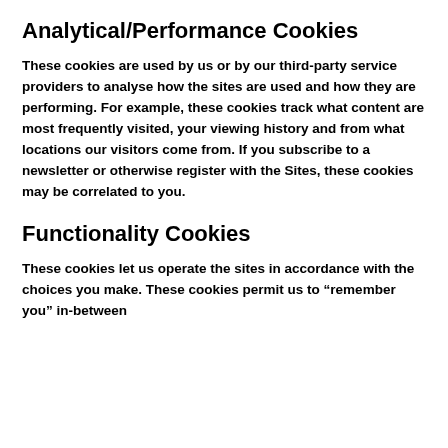Analytical/Performance Cookies
These cookies are used by us or by our third-party service providers to analyse how the sites are used and how they are performing. For example, these cookies track what content are most frequently visited, your viewing history and from what locations our visitors come from. If you subscribe to a newsletter or otherwise register with the Sites, these cookies may be correlated to you.
Functionality Cookies
These cookies let us operate the sites in accordance with the choices you make. These cookies permit us to “remember you” in-between